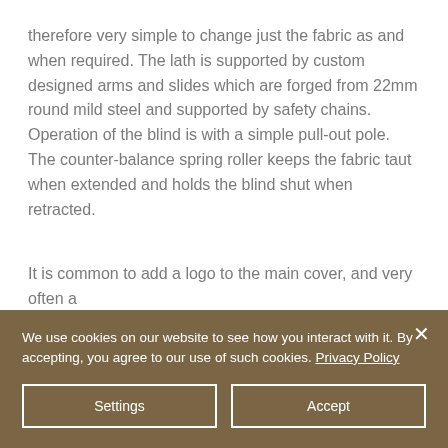therefore very simple to change just the fabric as and when required. The lath is supported by custom designed arms and slides which are forged from 22mm round mild steel and supported by safety chains. Operation of the blind is with a simple pull-out pole. The counter-balance spring roller keeps the fabric taut when extended and holds the blind shut when retracted.

It is common to add a logo to the main cover, and very often a
We use cookies on our website to see how you interact with it. By accepting, you agree to our use of such cookies. Privacy Policy